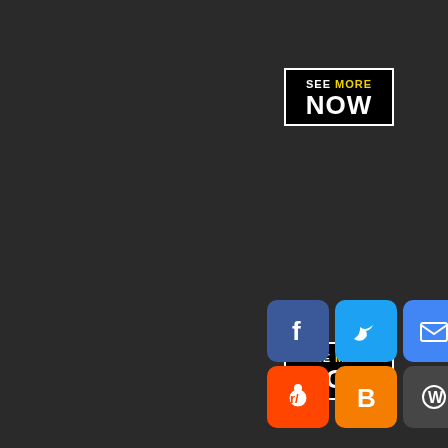[Figure (logo): SEE MORE NOW button/logo, black background with white border, 'SEE MORE' in yellow bold text and 'NOW' in large white bold text, positioned top right]
[Figure (logo): SEE MORE NOW button/logo, black background with white border, 'SEE MORE' in yellow bold text and 'NOW' in large white bold text, positioned bottom right]
[Figure (infographic): Row of social media share icons: Facebook (blue), Twitter (blue), Email (blue), Pinterest (red), Tumblr (dark blue-grey), and a scroll-to-top button (teal/cyan). Second row: Reddit (orange-red), Blogger (orange), WordPress (dark grey), VK (blue), More/share (blue).]